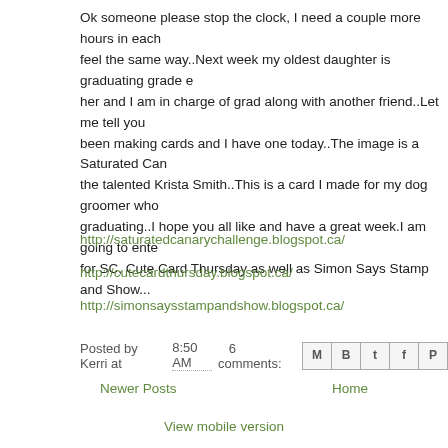Ok someone please stop the clock, I need a couple more hours in each day..I am sure you all feel the same way..Next week my oldest daughter is graduating grade e... her and I am in charge of grad along with another friend..Let me tell you... been making cards and I have one today..The image is a Saturated Can... the talented Krista Smith..This is a card I made for my dog groomer who... graduating..I hope you all like and have a great week.I am going to ente... for SC, Cute Card Thursday as well as Simon Says Stamp and Show...
http://saturatedcanarychallenge.blogspot.ca/
http://cutecardthursday.blogspot.ca/
http://simonsaysstampandshow.blogspot.ca/
Posted by Kerri at 8:50 AM   6 comments:
Newer Posts
Home
View mobile version